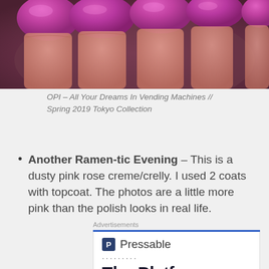[Figure (photo): Close-up photo of fingernails painted with a shimmery magenta/pink nail polish, partially cropped at top]
OPI – All Your Dreams In Vending Machines // Spring 2019 Tokyo Collection
Another Ramen-tic Evening – This is a dusty pink rose creme/crelly. I used 2 coats with topcoat. The photos are a little more pink than the polish looks in real life.
Advertisements
[Figure (screenshot): Advertisement for Pressable hosting platform showing the Pressable logo and partial text 'The Platform']